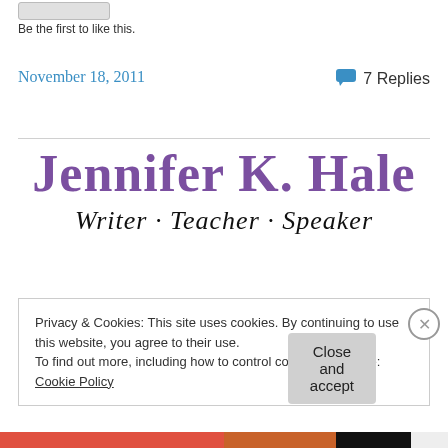[Figure (other): Grey button stub at top left]
Be the first to like this.
November 18, 2011
7 Replies
[Figure (logo): Jennifer K. Hale – Writer · Teacher · Speaker blog logo with purple serif name and cursive subtitle]
Privacy & Cookies: This site uses cookies. By continuing to use this website, you agree to their use.
To find out more, including how to control cookies, see here: Cookie Policy
Close and accept